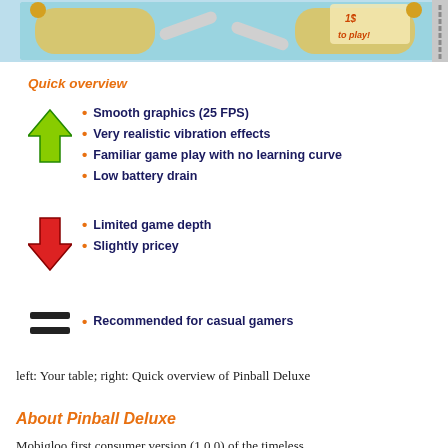[Figure (screenshot): Top portion showing a pinball game table screenshot with a '1$ to play!' sign visible]
Quick overview
Smooth graphics (25 FPS)
Very realistic vibration effects
Familiar game play with no learning curve
Low battery drain
Limited game depth
Slightly pricey
Recommended for casual gamers
left: Your table; right: Quick overview of Pinball Deluxe
About Pinball Deluxe
Mobigloo first consumer version (1.0.0) of the timeless